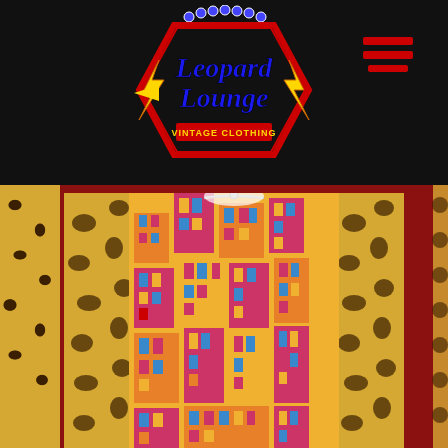[Figure (logo): Leopard Lounge Vintage Clothing neon sign logo — hexagonal red border with dots, yellow lightning bolts, blue and red text reading 'Leopard Lounge' and 'VINTAGE CLOTHING', decorative neon bulbs on top]
[Figure (illustration): Hamburger/menu icon — three horizontal red lines on dark background, top right of header]
[Figure (photo): Close-up photo of colorful vintage clothing item with printed pattern of European-style building facades in yellow, pink, magenta, red and blue, with decorative chain necklace visible at top, displayed against leopard print fabric background]
[Figure (photo): Partial photo below showing person in front of teal/green metal doors, with overlapping squares icon visible at bottom right corner]